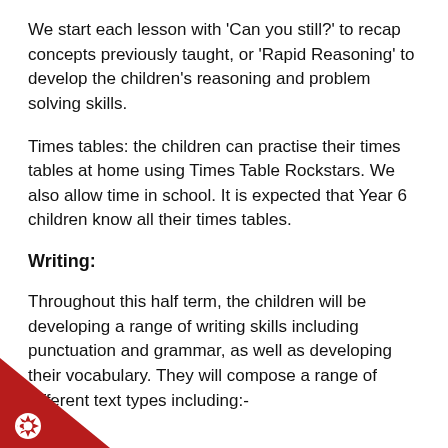We start each lesson with 'Can you still?' to recap concepts previously taught, or 'Rapid Reasoning' to develop the children's reasoning and problem solving skills.
Times tables: the children can practise their times tables at home using Times Table Rockstars. We also allow time in school. It is expected that Year 6 children know all their times tables.
Writing:
Throughout this half term, the children will be developing a range of writing skills including punctuation and grammar, as well as developing their vocabulary. They will compose a range of different text types including:-